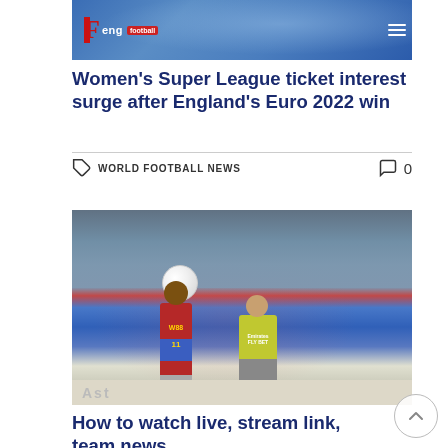[Figure (photo): Sports website header image showing football fans celebrating in blue, with website logo 'F eng football' and hamburger menu icon]
Women's Super League ticket interest surge after England's Euro 2022 win
WORLD FOOTBALL NEWS   0
[Figure (photo): Football match photo showing Crystal Palace player in red/blue W88 jersey competing for the ball against an Arsenal player in yellow Emirates kit]
How to watch live, stream link, team news